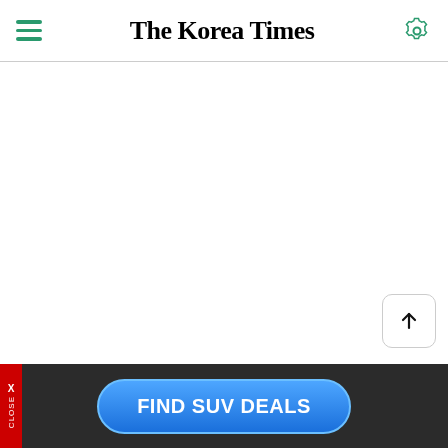The Korea Times
[Figure (screenshot): Empty white content area of The Korea Times mobile website]
[Figure (other): Scroll-to-top button with upward arrow]
FIND SUV DEALS